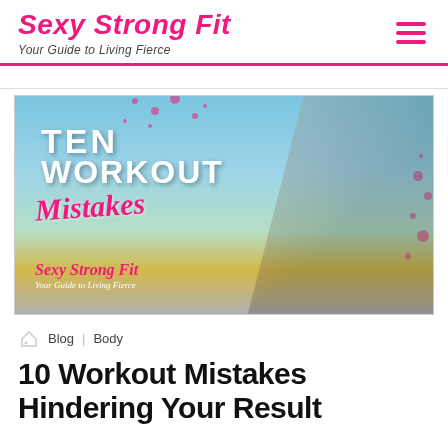Sexy Strong Fit — Your Guide to Living Fierce
[Figure (photo): Hero image for blog post 'Ten Workout Mistakes' showing a woman in pink sports bra and black leggings sitting outdoors. Text overlay reads 'TEN WORKOUT Mistakes' with Sexy Strong Fit logo.]
Blog | Body
10 Workout Mistakes Hindering Your Results